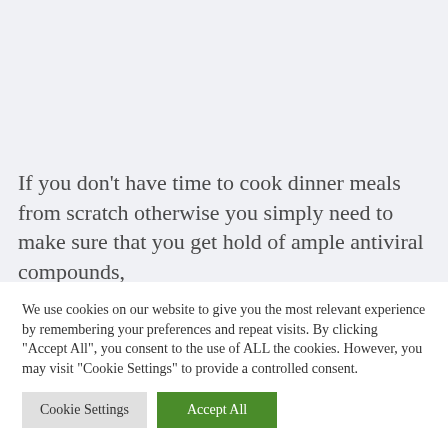If you don't have time to cook dinner meals from scratch otherwise you simply need to make sure that you get hold of ample antiviral compounds,
We use cookies on our website to give you the most relevant experience by remembering your preferences and repeat visits. By clicking "Accept All", you consent to the use of ALL the cookies. However, you may visit "Cookie Settings" to provide a controlled consent.